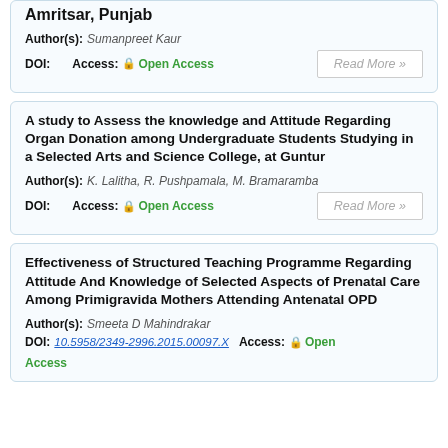Amritsar, Punjab
Author(s): Sumanpreet Kaur
DOI:   Access: Open Access
Read More »
A study to Assess the knowledge and Attitude Regarding Organ Donation among Undergraduate Students Studying in a Selected Arts and Science College, at Guntur
Author(s): K. Lalitha, R. Pushpamala, M. Bramaramba
DOI:   Access: Open Access
Read More »
Effectiveness of Structured Teaching Programme Regarding Attitude And Knowledge of Selected Aspects of Prenatal Care Among Primigravida Mothers Attending Antenatal OPD
Author(s): Smeeta D Mahindrakar
DOI: 10.5958/2349-2996.2015.00097.X   Access: Open Access